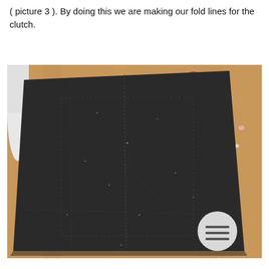( picture 3 ). By doing this we are making our fold lines for the clutch.
[Figure (photo): A piece of dark grey/black felt fabric laid flat on a wooden work table. The fabric has faint stitch or chalk lines marked on it indicating fold lines for making a clutch. A white cylindrical roller is partially visible at the top-left. The wooden table has paint splatters of various colors. A dark circular icon with a hamburger/menu symbol is overlaid in the bottom-right corner of the photo.]